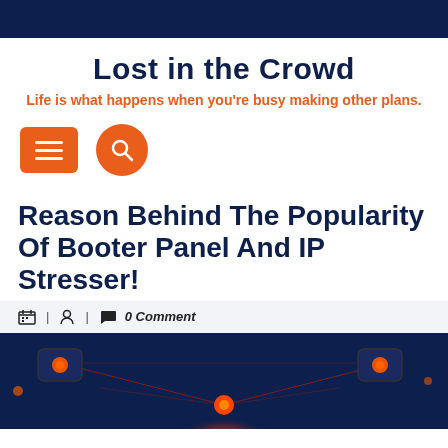Lost in the Crowd
Life is what happens when you're busy making other plans.
[Figure (infographic): Orange hamburger menu button (rectangle with three horizontal lines) and orange circular search button with magnifying glass icon]
Reason Behind The Popularity Of Booter Panel And IP Stresser!
| | 0 Comment
[Figure (photo): Dark navy background with glowing orange network nodes connected by red lines, depicting a cybersecurity/network visualization]